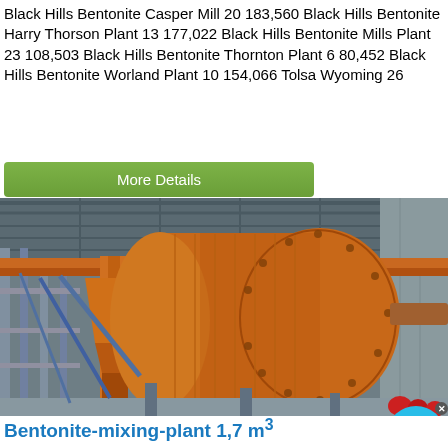Black Hills Bentonite Casper Mill 20 183,560 Black Hills Bentonite Harry Thorson Plant 13 177,022 Black Hills Bentonite Mills Plant 23 108,503 Black Hills Bentonite Thornton Plant 6 80,452 Black Hills Bentonite Worland Plant 10 154,066 Tolsa Wyoming 26
More Details
[Figure (photo): Industrial bentonite mixing plant inside a large warehouse/hangar. A large orange cylindrical drum/vessel is mounted on metal scaffolding. The structure includes metal grating walkways, orange-painted steel framework, and blue/grey scaffolding poles. The background shows the interior of a corrugated metal building.]
Bentonite-mixing-plant 1,7 m³